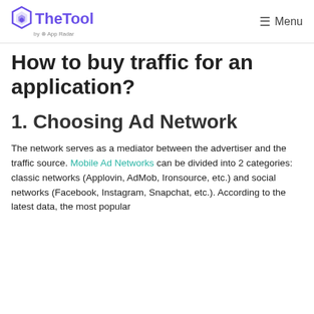TheTool by App Radar | Menu
How to buy traffic for an application?
1. Choosing Ad Network
The network serves as a mediator between the advertiser and the traffic source. Mobile Ad Networks can be divided into 2 categories: classic networks (Applovin, AdMob, Ironsource, etc.) and social networks (Facebook, Instagram, Snapchat, etc.). According to the latest data, the most popular